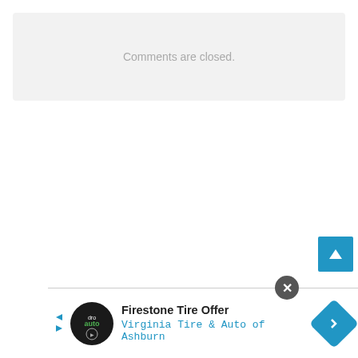Comments are closed.
[Figure (other): Scroll-to-top button: blue square with white upward arrow]
[Figure (other): Advertisement banner: Firestone Tire Offer - Virginia Tire & Auto of Ashburn, with close button (X), navigation arrows, logo, and direction icon]